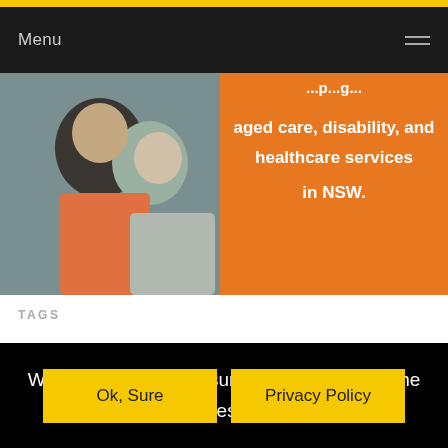Menu
[Figure (photo): Two people embracing and smiling, with an orange background panel showing text about aged care, disability, and healthcare services in NSW.]
TAGS
We use cookies to ensure that we give you the best experience on our website. If you continue to use this site we will assume that you are happy with it.
Ok, Sure    Privacy Policy